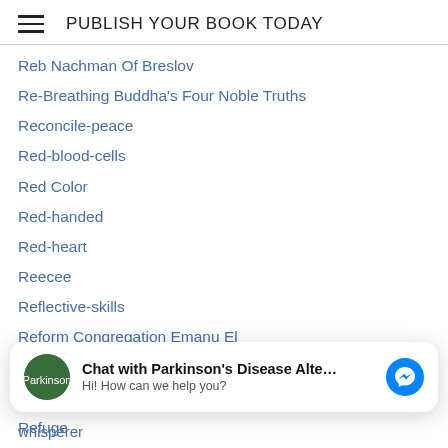PUBLISH YOUR BOOK TODAY
Reb Nachman Of Breslov
Re-Breathing Buddha's Four Noble Truths
Reconcile-peace
Red-blood-cells
Red Color
Red-handed
Red-heart
Reecee
Reflective-skills
Reform Congregation Emanu El
Reform Congregation Emanu-el
Reform Judaism Blog
Refuge
whisperer